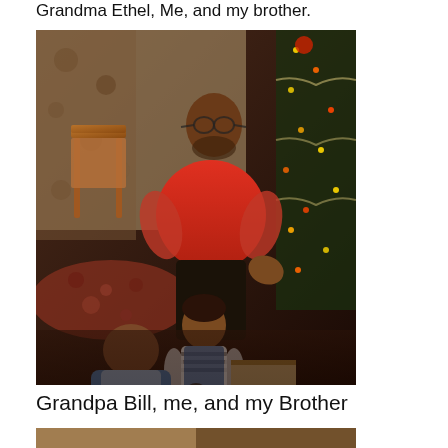Grandma Ethel, Me, and my brother.
[Figure (photo): Vintage color photograph of a man in a red shirt wearing glasses, leaning over two young children playing on the floor with toys, near a decorated Christmas tree.]
Grandpa Bill, me, and my Brother
[Figure (photo): Partial view of another vintage photograph at the bottom of the page, partially cut off.]